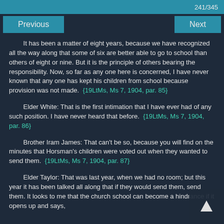241/345
Previous
Next
It has been a matter of eight years, because we have recognized all the way along that some of six are better able to go to school than others of eight or nine. But it is the principle of others bearing the responsibility. Now, so far as any one here is concerned, I have never known that any one has kept his children from school because provision was not made. {19LtMs, Ms 7, 1904, par. 85}
Elder White: That is the first intimation that I have ever had of any such position. I have never heard that before. {19LtMs, Ms 7, 1904, par. 86}
Brother Iram James: That can't be so, because you will find on the minutes that Horsman's children were voted out when they wanted to send them. {19LtMs, Ms 7, 1904, par. 87}
Elder Taylor: That was last year, when we had no room; but this year it has been talked all along that if they would send them, send them. It looks to me that the church school can become a hindrance if it opens up and says,